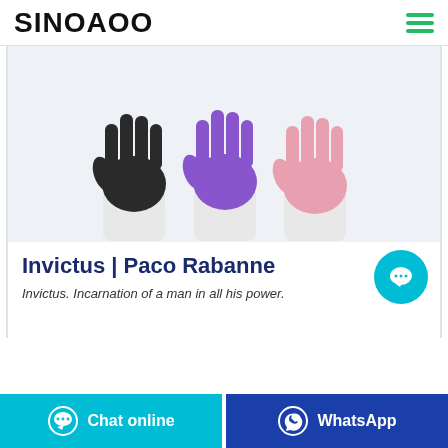SINOAOO
[Figure (photo): Three disposable gloves displayed side by side: black glove on the left, purple glove in the center, and pink glove on the right, each on a white cuff/sleeve background.]
Invictus | Paco Rabanne
Invictus. Incarnation of a man in all his power.
[Figure (other): Floating cyan circular chat bubble button with ellipsis icon]
Chat online
WhatsApp